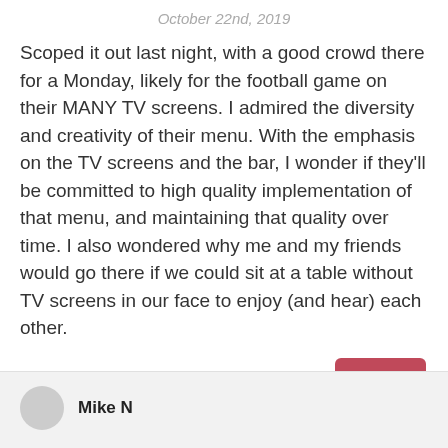October 22nd, 2019
Scoped it out last night, with a good crowd there for a Monday, likely for the football game on their MANY TV screens. I admired the diversity and creativity of their menu. With the emphasis on the TV screens and the bar, I wonder if they'll be committed to high quality implementation of that menu, and maintaining that quality over time. I also wondered why me and my friends would go there if we could sit at a table without TV screens in our face to enjoy (and hear) each other.
Reply
Mike N